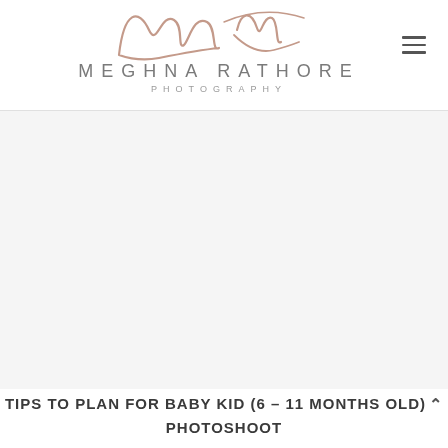MEGHNA RATHORE PHOTOGRAPHY
[Figure (photo): Large placeholder/blank image area below the header, white/light gray background]
TIPS TO PLAN FOR BABY KID (6 – 11 MONTHS OLD) PHOTOSHOOT